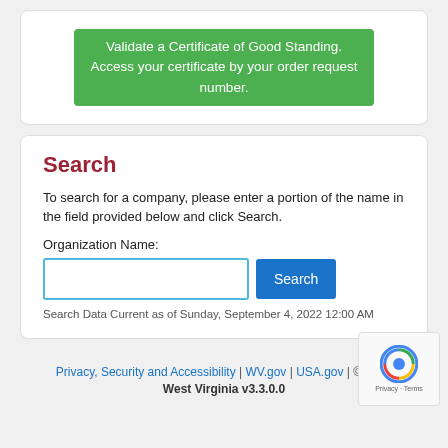Validate a Certificate of Good Standing. Access your certificate by your order request number.
Search
To search for a company, please enter a portion of the name in the field provided below and click Search.
Organization Name:
[Figure (screenshot): Search input field with blue border and Search button]
Search Data Current as of Sunday, September 4, 2022 12:00 AM
Privacy, Security and Accessibility | WV.gov | USA.gov | © 2022 West Virginia v3.3.0.0